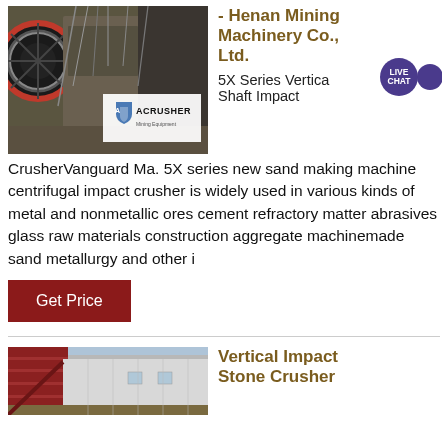[Figure (photo): Industrial mining crusher machinery photograph with ACRUSHER Mining Equipment logo overlay]
- Henan Mining Machinery Co., Ltd.
5X Series Vertical Shaft Impact Crusher
Vanguard Ma. 5X series new sand making machine centrifugal impact crusher is widely used in various kinds of metal and nonmetallic ores cement refractory matter abrasives glass raw materials construction aggregate machinemade sand metallurgy and other i
Get Price
[Figure (photo): Industrial building with red metal structure, warehouse or factory for stone crushing equipment]
Vertical Impact Stone Crusher